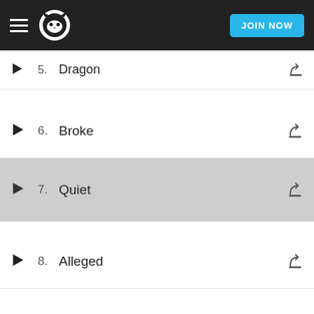Napster navigation bar with JOIN NOW button
5. Dragon
6. Broke
7. Quiet
8. Alleged
9. Life